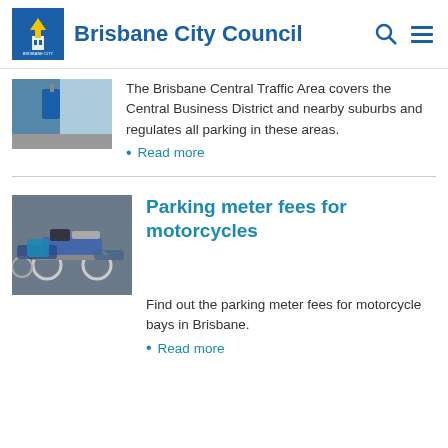Brisbane City Council
[Figure (photo): Partial photo of a parking/street scene, cropped at top]
The Brisbane Central Traffic Area covers the Central Business District and nearby suburbs and regulates all parking in these areas.
Read more
[Figure (photo): Photo of motorcycles parked in motorcycle bays in Brisbane]
Parking meter fees for motorcycles
Find out the parking meter fees for motorcycle bays in Brisbane.
Read more